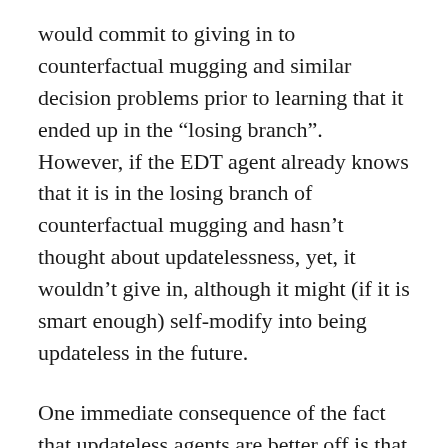would commit to giving in to counterfactual mugging and similar decision problems prior to learning that it ended up in the “losing branch”. However, if the EDT agent already knows that it is in the losing branch of counterfactual mugging and hasn’t thought about updatelessness, yet, it wouldn’t give in, although it might (if it is smart enough) self-modify into being updateless in the future.
One immediate consequence of the fact that updateless agents are better off is that one would want to program an AI to be updateless from the start. I guess it is this sense in which people like the researchers of the Machine Intelligence Research Institute consider updatelessness to be correct despite the fact that it